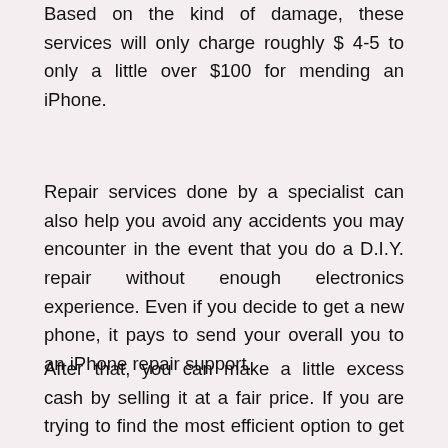Based on the kind of damage, these services will only charge roughly $ 4-5 to only a little over $100 for mending an iPhone.
Repair services done by a specialist can also help you avoid any accidents you may encounter in the event that you do a D.I.Y. repair without enough electronics experience. Even if you decide to get a new phone, it pays to send your overall you to an iPhone repair support.
After that, you can make a little excess cash by selling it at a fair price. If you are trying to find the most efficient option to get your smartphone repaired, the best idea is to have the iPhone get repaired by means of an expert and also avoid the hassle.
At least a tech by a respected electronics repair